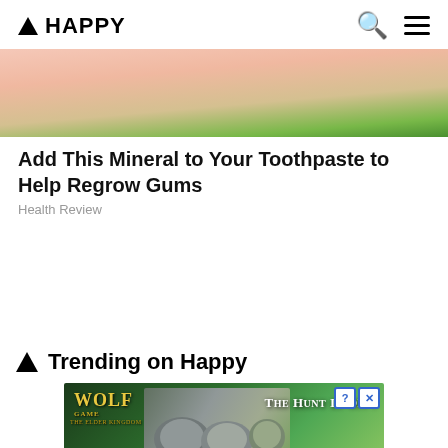▲ HAPPY
[Figure (photo): Close-up photo of a hand holding a green object, likely toothpaste or a plant, with pink/skin-tone background visible at top of image]
Add This Mineral to Your Toothpaste to Help Regrow Gums
Health Review
▲ Trending on Happy
[Figure (screenshot): Advertisement banner for Wolf Game mobile game with wolves and text 'THE HUNT IS ON!' with close and info buttons]